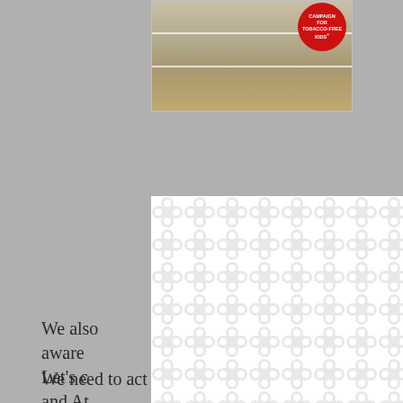[Figure (photo): Partial view of a book stack with a red circular Campaign for Tobacco-Free Kids badge/button on top, with white horizontal line dividers on a beige background.]
We also [obscured by modal] e aware [obscured by modal] ming. Let's c[obscured] nic and At[obscured] n the unders[obscured] change[obscured] consec[obscured]
We need to act today. The threats multiply the